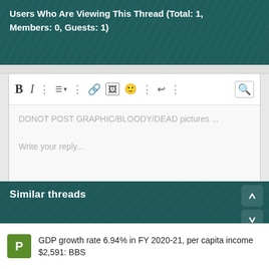Users Who Are Viewing This Thread (Total: 1, Members: 0, Guests: 1)
[Figure (screenshot): Forum reply composer with toolbar icons (Bold, Italic, list, link, image, emoji, undo, attachment) and placeholder text 'DONOT POST GRAPHIC/BLOODY/DEAD pictures ...' and 'Write your reply...']
[Figure (screenshot): Post reply button (teal, rounded)]
Similar threads
GDP growth rate 6.94% in FY 2020-21, per capita income $2,591: BBS